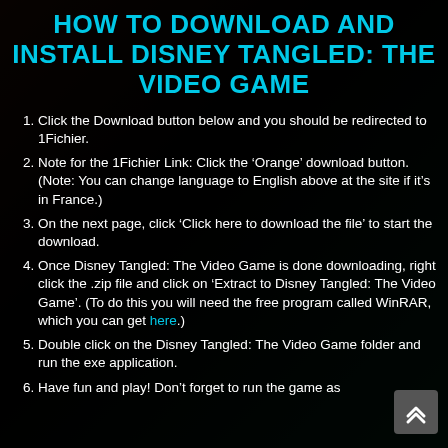HOW TO DOWNLOAD AND INSTALL DISNEY TANGLED: THE VIDEO GAME
Click the Download button below and you should be redirected to 1Fichier.
Note for the 1Fichier Link: Click the ‘Orange’ download button. (Note: You can change language to English above at the site if it’s in France.)
On the next page, click ‘Click here to download the file’ to start the download.
Once Disney Tangled: The Video Game is done downloading, right click the .zip file and click on ‘Extract to Disney Tangled: The Video Game’. (To do this you will need the free program called WinRAR, which you can get here.)
Double click on the Disney Tangled: The Video Game folder and run the exe application.
Have fun and play! Don’t forget to run the game as administrator with the game to work!